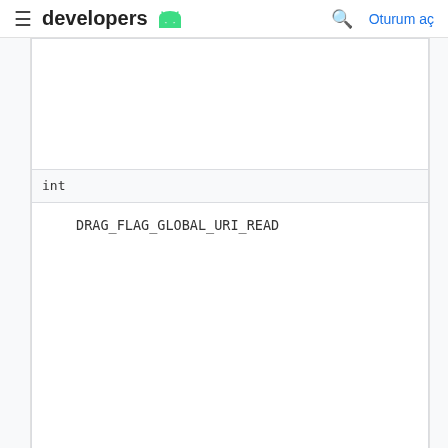developers | Oturum aç
| Type | Value |
| --- | --- |
|  |  |
| int |  |
|  | DRAG_FLAG_GLOBAL_URI_READ |
| int |  |
|  | DRAG_FLAG_GLOBAL_URI_WRITE |